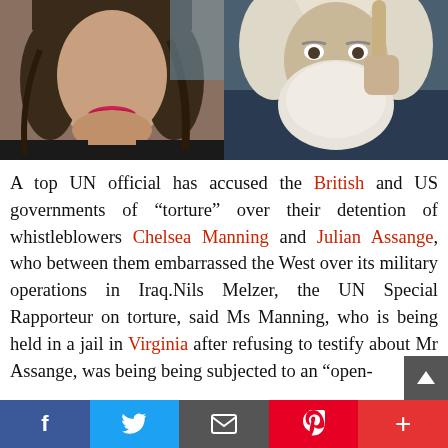[Figure (photo): Two side-by-side photos: left shows a young woman (Chelsea Manning) with pink/red lipstick wearing a black top; right shows an older bearded man (Julian Assange) with white beard pointing upward, against a blue background.]
A top UN official has accused the British and US governments of “torture” over their detention of whistleblowers Chelsea Manning and Julian Assange, who between them embarrassed the West over its military operations in Iraq.Nils Melzer, the UN Special Rapporteur on torture, said Ms Manning, who is being held in a jail in Virginia after refusing to testify about Mr Assange, was being being subjected to an “open-